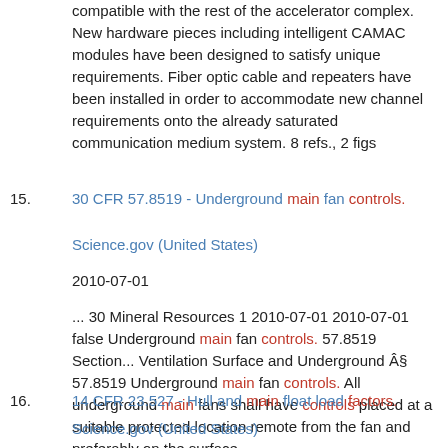compatible with the rest of the accelerator complex. New hardware pieces including intelligent CAMAC modules have been designed to satisfy unique requirements. Fiber optic cable and repeaters have been installed in order to accommodate new channel requirements onto the already saturated communication medium system. 8 refs., 2 figs
15. 30 CFR 57.8519 - Underground main fan controls.
Science.gov (United States)
2010-07-01
... 30 Mineral Resources 1 2010-07-01 2010-07-01 false Underground main fan controls. 57.8519 Section... Ventilation Surface and Underground § 57.8519 Underground main fan controls. All underground main fans shall have controls placed at a suitable protected location remote from the fan and preferably on the surface...
16. 14 CFR 23.527 - Hull and main float load factors.
Science.gov (United States)
2010-01-01